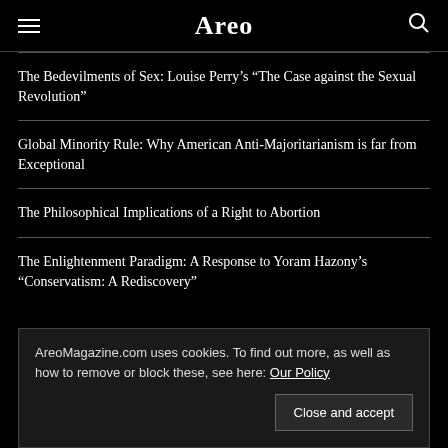Areo
The Bedevilments of Sex: Louise Perry’s “The Case against the Sexual Revolution”
Global Minority Rule: Why American Anti-Majoritarianism is far from Exceptional
The Philosophical Implications of a Right to Abortion
The Enlightenment Paradigm: A Response to Yoram Hazony’s “Conservatism: A Rediscovery”
AreoMagazine.com uses cookies. To find out more, as well as how to remove or block these, see here: Our Policy